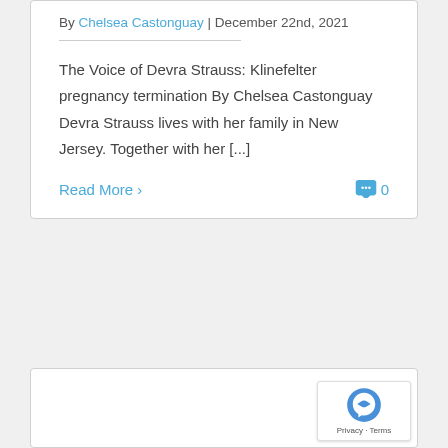By Chelsea Castonguay | December 22nd, 2021
The Voice of Devra Strauss: Klinefelter pregnancy termination By Chelsea Castonguay Devra Strauss lives with her family in New Jersey. Together with her [...]
Read More >
0